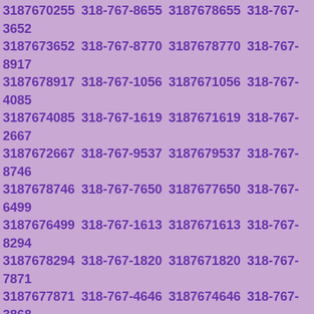3187670255 318-767-8655 3187678655 318-767-3652 3187673652 318-767-8770 3187678770 318-767-8917 3187678917 318-767-1056 3187671056 318-767-4085 3187674085 318-767-1619 3187671619 318-767-2667 3187672667 318-767-9537 3187679537 318-767-8746 3187678746 318-767-7650 3187677650 318-767-6499 3187676499 318-767-1613 3187671613 318-767-8294 3187678294 318-767-1820 3187671820 318-767-7871 3187677871 318-767-4646 3187674646 318-767-3868 3187673868 318-767-6681 3187676681 318-767-1231 3187671231 318-767-9230 3187679230 318-767-7886 3187677886 318-767-6810 3187676810 318-767-5945 3187675945 318-767-6835 3187676835 318-767-9928 3187679928 318-767-4636 3187674636 318-767-8067 3187678067 318-767-3138 3187673138 318-767-3128 3187673128 318-767-6738 3187676738 318-767-0014 3187670014 318-767-0180 3187670180 318-767-4660 3187674660 318-767-1032 3187671032 318-767-8204 3187678204 318-767-5265 3187675265 318-767-6236 3187676236 318-767-8133 3187678133 318-767-9106 3187679106 318-767-4070 3187674070 318-767-5181